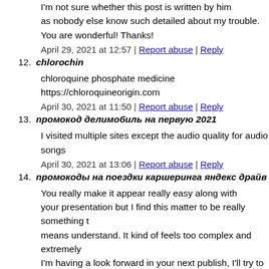I'm not sure whether this post is written by him as nobody else know such detailed about my trouble. You are wonderful! Thanks!
April 29, 2021 at 12:57 | Report abuse | Reply
12. chlorochin
chloroquine phosphate medicine https://chloroquineorigin.com
April 30, 2021 at 11:50 | Report abuse | Reply
13. промокод делимобиль на первую 2021
I visited multiple sites except the audio quality for audio songs
April 30, 2021 at 13:06 | Report abuse | Reply
14. промокоды на поездки каршеринга яндекс драйв
You really make it appear really easy along with your presentation but I find this matter to be really something t means understand. It kind of feels too complex and extremely I'm having a look forward in your next publish, I'll try to get the dangle of it!
May 2, 2021 at 14:14 | Report abuse | Reply
15. промокод делимобиль на первую поездку при регистрации